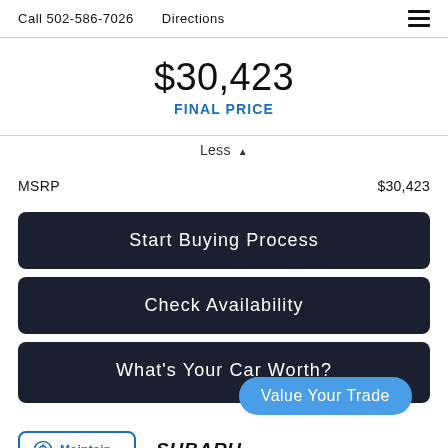Call 502-586-7026   Directions
$30,423
FINAL PRICE
Less ▲
|  |  |
| --- | --- |
| MSRP | $30,423 |
Start Buying Process
Check Availability
What's Your Car Worth?
Value Your Trade
SUBARU